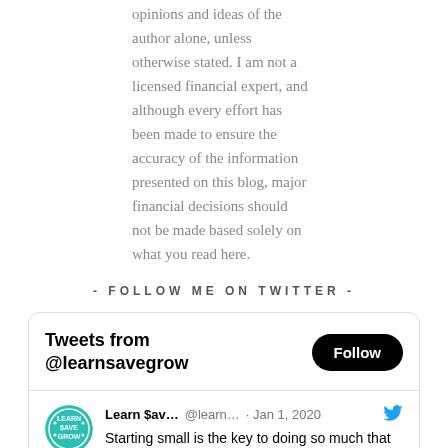opinions and ideas of the author alone, unless otherwise stated. I am not a licensed financial expert, and although every effort has been made to ensure the accuracy of the information presented on this blog, major financial decisions should not be made based solely on what you read here.
- FOLLOW ME ON TWITTER -
[Figure (screenshot): Twitter widget showing tweets from @learnsavegrow. Header shows 'Tweets from @learnsavegrow' with a Follow button. A tweet by Learn $av... @learn... on Jan 1, 2020 reads: 'Starting small is the key to doing so much that seems scary or impossible. Happy New Year, everyone!' with a quoted tweet from The ... @them... on Jan 1, 2020 saying 'If you wake up today with the resolution to be better with money, try this:']